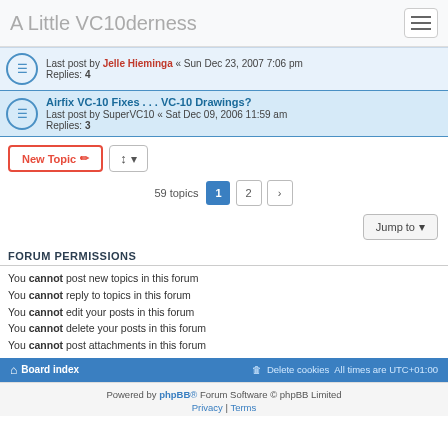A Little VC10derness
Last post by Jelle Hieminga « Sun Dec 23, 2007 7:06 pm
Replies: 4
Airfix VC-10 Fixes . . . VC-10 Drawings?
Last post by SuperVC10 « Sat Dec 09, 2006 11:59 am
Replies: 3
59 topics · Page 1, 2
Jump to
FORUM PERMISSIONS
You cannot post new topics in this forum
You cannot reply to topics in this forum
You cannot edit your posts in this forum
You cannot delete your posts in this forum
You cannot post attachments in this forum
Board index | Delete cookies | All times are UTC+01:00
Powered by phpBB® Forum Software © phpBB Limited
Privacy | Terms